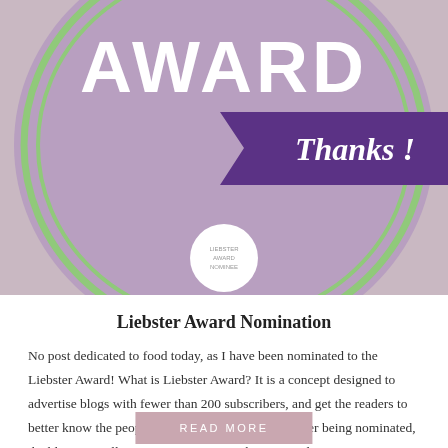[Figure (illustration): Liebster Award badge: large purple/lavender circle with green ring border, white bold text 'AWARD' at top, purple diagonal ribbon banner with italic white text 'Thanks !' on the right side, small white circle at bottom center with tiny text inside.]
Liebster Award Nomination
No post dedicated to food today, as I have been nominated to the Liebster Award! What is Liebster Award? It is a concept designed to advertise blogs with fewer than 200 subscribers, and get the readers to better know the people who created these blogs. After being nominated, the bloggers willing to participate to Liebster Award...
READ MORE